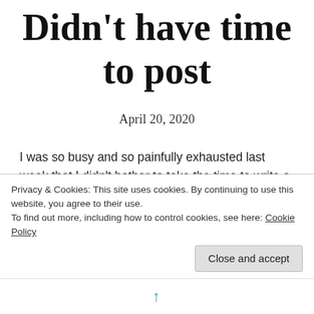Didn't have time to post
April 20, 2020
I was so busy and so painfully exhausted last week that I didn't bother to take the time to write a post Friday. Jeanie got Law of the Beast back to me so on Friday I went ahead and perused it since she said she didn't have too many issues on that round. This is why it is beyond important for
Privacy & Cookies: This site uses cookies. By continuing to use this website, you agree to their use.
To find out more, including how to control cookies, see here: Cookie Policy
Close and accept